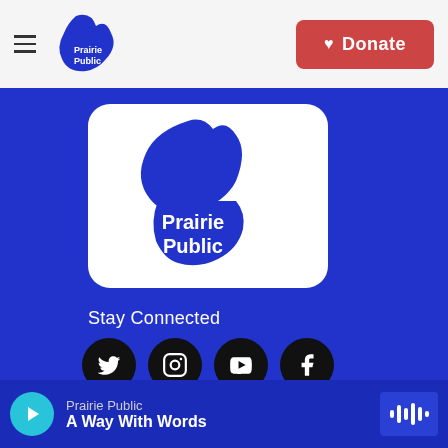Prairie Public — Navigation header with Donate button
[Figure (logo): Prairie Public logo — blue prairie dog silhouette with 'Prairie Public' text on white rounded square background]
Stay Connected
[Figure (infographic): Social media icons row: Twitter, Instagram, YouTube, Facebook — black circular buttons]
© 2022
About Prairie Public
Contact Us
Membership
Prairie Public — A Way With Words (audio player bar)